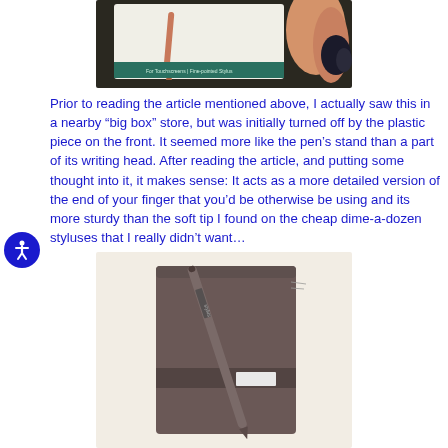[Figure (photo): Hand holding a stylus product box/card with teal accent band at bottom]
Prior to reading the article mentioned above, I actually saw this in a nearby “big box” store, but was initially turned off by the plastic piece on the front. It seemed more like the pen’s stand than a part of its writing head. After reading the article, and putting some thought into it, it makes sense: It acts as a more detailed version of the end of your finger that you’d be otherwise be using and its more sturdy than the soft tip I found on the cheap dime-a-dozen styluses that I really didn’t want…
[Figure (photo): A stylus pen resting on a dark brown/gray notebook with elastic band closure and small white label, on a light beige surface]